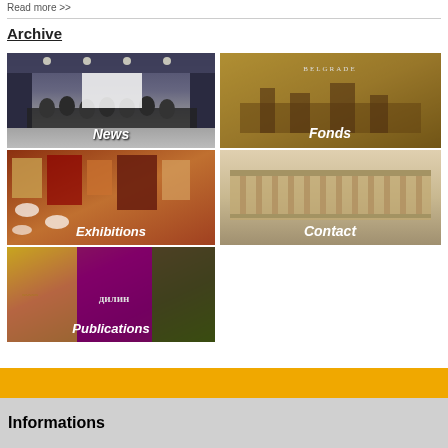Read more >>
Archive
[Figure (other): Navigation image: News - library/conference hall interior]
[Figure (other): Navigation image: Exhibitions - colorful artwork gallery]
[Figure (other): Navigation image: Publications - old manuscripts and Cyrillic text]
[Figure (other): Navigation image: Fonds - historical engraving of Belgrade]
[Figure (other): Navigation image: Contact - modernist building exterior]
Informations